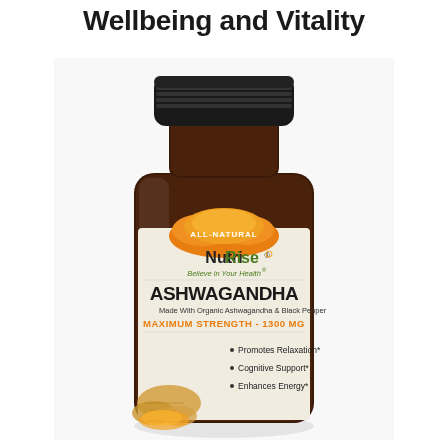Wellbeing and Vitality
[Figure (photo): Product photo of NutriRise Ashwagandha supplement bottle. Brown glass bottle with black cap. Label reads: ALL-NATURAL, NutriRise, Believe in Your Health, ASHWAGANDHA, Made With Organic Ashwagandha & Black Pepper, MAXIMUM STRENGTH - 1300 MG, bullet points: Promotes Relaxation*, Cognitive Support*, Enhances Energy*. Orange flame/splash graphic at top of label. Ashwagandha root pieces visible at bottom of label.]